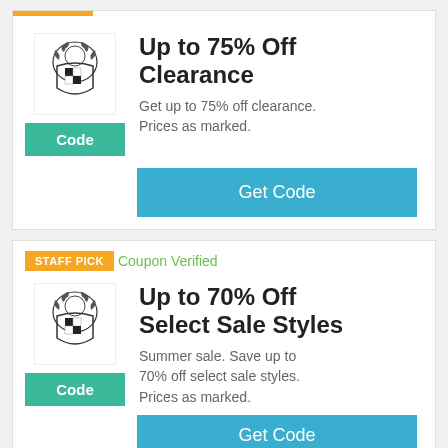[Figure (logo): Coat of arms / crest logo for first coupon card]
Up to 75% Off Clearance
Get up to 75% off clearance. Prices as marked.
Get Code
STAFF PICK
Coupon Verified
[Figure (logo): Coat of arms / crest logo for second coupon card]
Up to 70% Off Select Sale Styles
Summer sale. Save up to 70% off select sale styles. Prices as marked.
Get Code